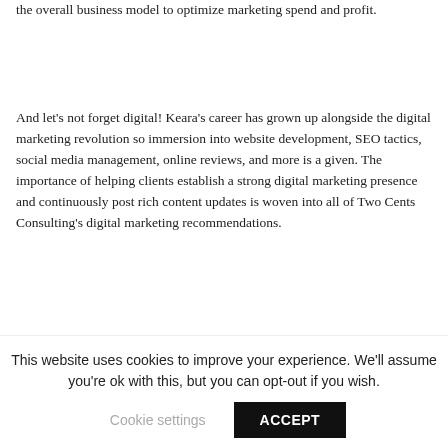the overall business model to optimize marketing spend and profit.
And let's not forget digital! Keara's career has grown up alongside the digital marketing revolution so immersion into website development, SEO tactics, social media management, online reviews, and more is a given. The importance of helping clients establish a strong digital marketing presence and continuously post rich content updates is woven into all of Two Cents Consulting's digital marketing recommendations.
Two Cents Consulting is focused on advising businesses to engage in the right marketing activities at the right time and stay within their budgets, which makes marketing
This website uses cookies to improve your experience. We'll assume you're ok with this, but you can opt-out if you wish.
Cookie settings
ACCEPT